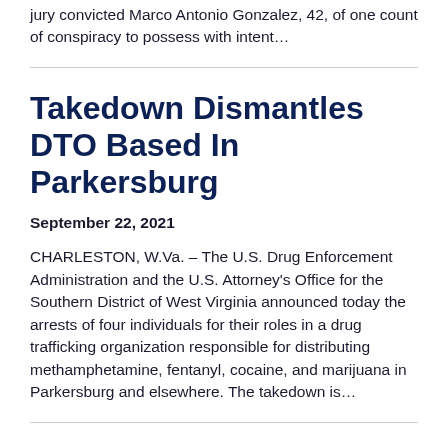jury convicted Marco Antonio Gonzalez, 42, of one count of conspiracy to possess with intent…
Takedown Dismantles DTO Based In Parkersburg
September 22, 2021
CHARLESTON, W.Va. – The U.S. Drug Enforcement Administration and the U.S. Attorney's Office for the Southern District of West Virginia announced today the arrests of four individuals for their roles in a drug trafficking organization responsible for distributing methamphetamine, fentanyl, cocaine, and marijuana in Parkersburg and elsewhere. The takedown is…
40 Charged With Gun, Drug…